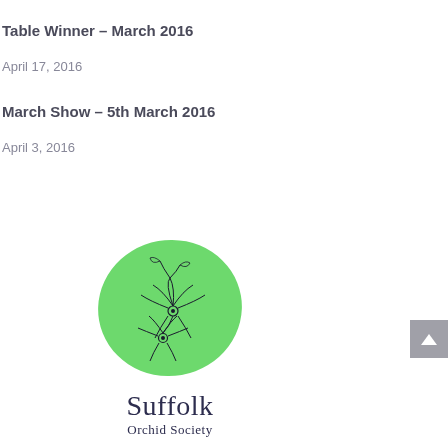Table Winner – March 2016
April 17, 2016
March Show – 5th March 2016
April 3, 2016
[Figure (logo): Suffolk Orchid Society logo: green blob shape with orchid line drawing, text 'Suffolk' and 'Orchid Society']